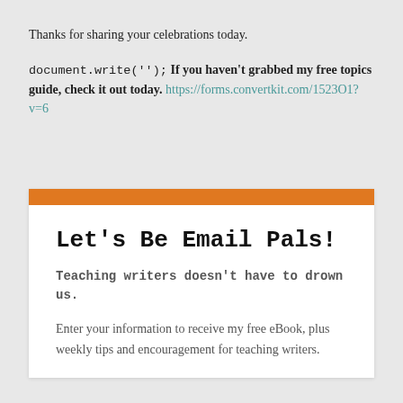Thanks for sharing your celebrations today.
document.write(''); If you haven't grabbed my free topics guide, check it out today. https://forms.convertkit.com/1523O1?v=6
Let's Be Email Pals!
Teaching writers doesn't have to drown us.
Enter your information to receive my free eBook, plus weekly tips and encouragement for teaching writers.